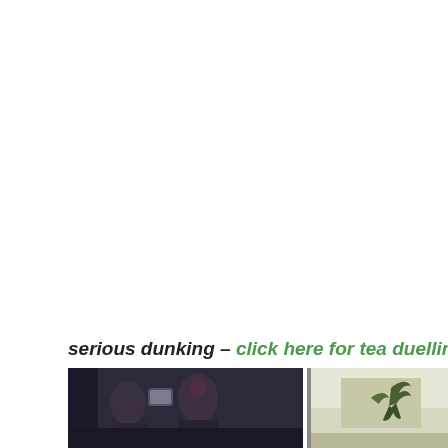serious dunking – click here for tea duelling rules
[Figure (photo): A photo strip at the bottom showing two images side by side: on the left, dark indoor scene with people appearing to dunk/drink tea, and on the right, a lighter scene with what appears to be a bird or nature imagery.]